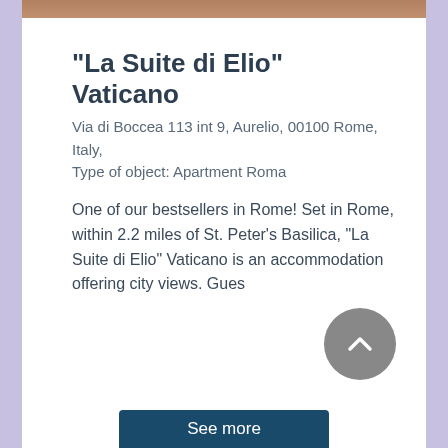[Figure (photo): Partial top strip of a photo of the accommodation]
"La Suite di Elio" Vaticano
Via di Boccea 113 int 9, Aurelio, 00100 Rome, Italy,
Type of object: Apartment Roma
One of our bestsellers in Rome! Set in Rome, within 2.2 miles of St. Peter's Basilica, "La Suite di Elio" Vaticano is an accommodation offering city views. Gues
[Figure (other): Gray circular scroll-to-top button with upward chevron icon]
See more